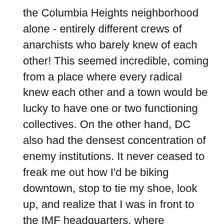the Columbia Heights neighborhood alone - entirely different crews of anarchists who barely knew of each other! This seemed incredible, coming from a place where every radical knew each other and a town would be lucky to have one or two functioning collectives. On the other hand, DC also had the densest concentration of enemy institutions. It never ceased to freak me out how I'd be biking downtown, stop to tie my shoe, look up, and realize that I was in front to the IMF headquarters, where bureaucrats from the suburbs designed the details of Third World misery. Or I'd pop out of the Metro and walk past the FBI, full of agents working out new ways to justify surveiling and repressing us.  Your average march passed so many important targets that my head would spin. Just about every institution that had ever outraged me had some kind of office in DC,